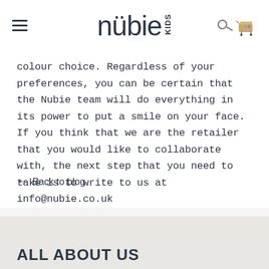nubie KIDS
colour choice. Regardless of your preferences, you can be certain that the Nubie team will do everything in its power to put a smile on your face. If you think that we are the retailer that you would like to collaborate with, the next step that you need to take is to write to us at info@nubie.co.uk
← Back to blog
ALL ABOUT US